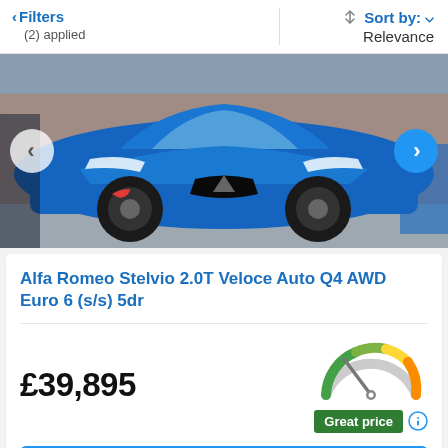< Filters (2) applied | Sort by: Relevance
[Figure (photo): Blue Alfa Romeo Stelvio SUV photographed from front-left angle in a dealership forecourt, with brick building in background. Navigation arrows on left and right.]
Alfa Romeo Stelvio 2.0T Veloce Auto Q4 AWD Euro 6 (s/s) 5dr
£39,895
[Figure (infographic): Semicircular price gauge/speedometer with green, yellow, and orange arc. Needle pointing toward green (great price) zone. Below it: 'Great price' badge in green.]
Full vehicle details